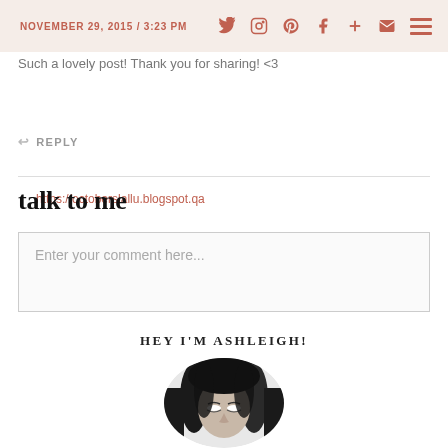NOVEMBER 29, 2015 / 3:23 PM
Such a lovely post! Thank you for sharing! <3
https://octoberslallu.blogspot.qa
REPLY
talk to me
Enter your comment here...
HEY I'M ASHLEIGH!
[Figure (photo): Circular cropped black and white portrait photo of a woman with dark hair looking downward]